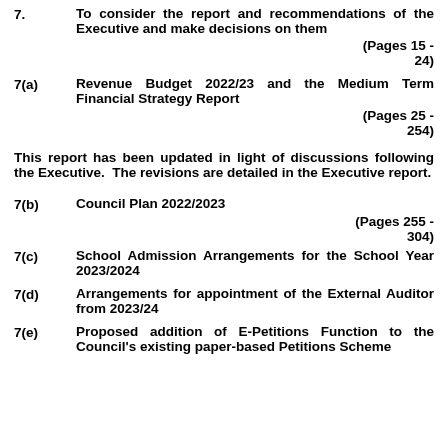7. To consider the report and recommendations of the Executive and make decisions on them (Pages 15 - 24)
7(a) Revenue Budget 2022/23 and the Medium Term Financial Strategy Report (Pages 25 - 254)
This report has been updated in light of discussions following the Executive. The revisions are detailed in the Executive report.
7(b) Council Plan 2022/2023 (Pages 255 - 304)
7(c) School Admission Arrangements for the School Year 2023/2024
7(d) Arrangements for appointment of the External Auditor from 2023/24
7(e) Proposed addition of E-Petitions Function to the Council's existing paper-based Petitions Scheme